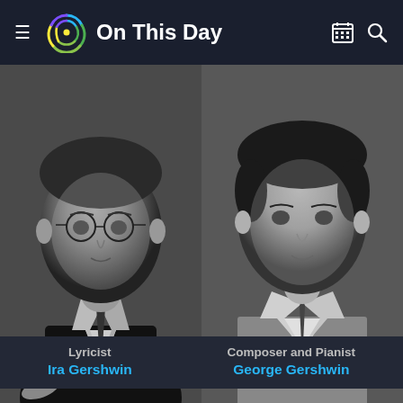On This Day
[Figure (photo): Black and white portrait photo of Ira Gershwin wearing glasses, suit and tie, looking slightly downward]
[Figure (photo): Black and white portrait photo of George Gershwin in a suit and tie, younger looking, facing slightly right]
Lyricist
Ira Gershwin
Composer and Pianist
George Gershwin
Jan 7 "Fool Moon", starring Bill Irwin, closes at Ambassador Theater, NYC after 81 performances
Jan 7 16th United Negro College Fund raises $12,600,000